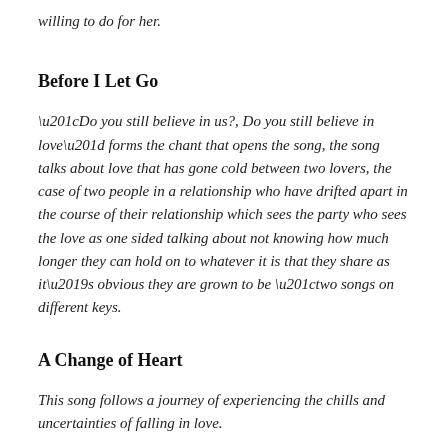willing to do for her.
Before I Let Go
“Do you still believe in us?, Do you still believe in love” forms the chant that opens the song, the song talks about love that has gone cold between two lovers, the case of two people in a relationship who have drifted apart in the course of their relationship which sees the party who sees the love as one sided talking about not knowing how much longer they can hold on to whatever it is that they share as it’s obvious they are grown to be “two songs on different keys.
A Change of Heart
This song follows a journey of experiencing the chills and uncertainties of falling in love.